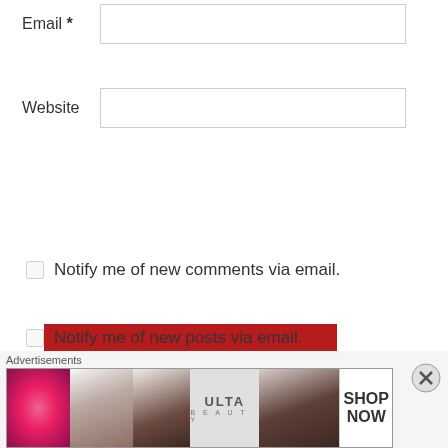Email *
Website
POST COMMENT
Notify me of new comments via email.
Notify me of new posts via email.
Advertisements
[Figure (other): Advertisement banner for ULTA Beauty featuring makeup images including lips, brush, eye, ULTA logo, eyes, and SHOP NOW text]